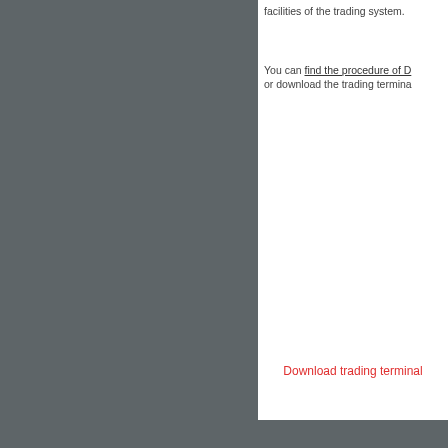facilities of the trading system.
You can find the procedure of D or download the trading termina
Download trading terminal